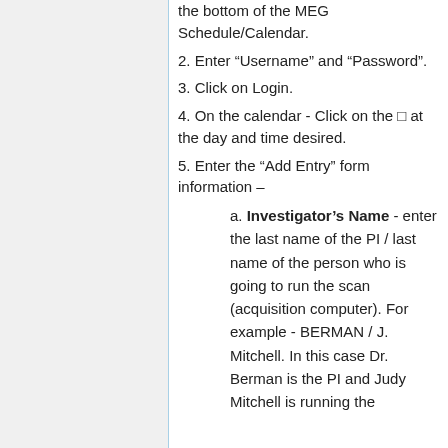the bottom of the MEG Schedule/Calendar.
2. Enter “Username” and “Password”.
3. Click on Login.
4. On the calendar - Click on the □ at the day and time desired.
5. Enter the “Add Entry” form information –
a. Investigator’s Name - enter the last name of the PI / last name of the person who is going to run the scan (acquisition computer). For example - BERMAN / J. Mitchell. In this case Dr. Berman is the PI and Judy Mitchell is running the